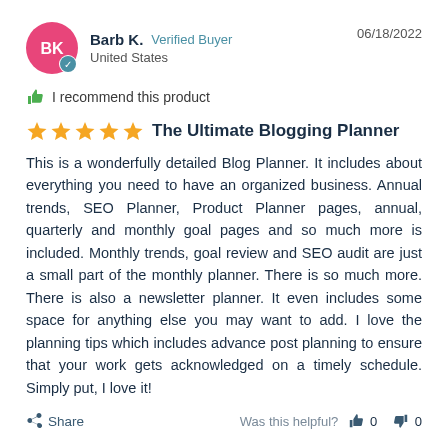Barb K.  Verified Buyer  United States  06/18/2022
I recommend this product
The Ultimate Blogging Planner
This is a wonderfully detailed Blog Planner. It includes about everything you need to have an organized business. Annual trends, SEO Planner, Product Planner pages, annual, quarterly and monthly goal pages and so much more is included. Monthly trends, goal review and SEO audit are just a small part of the monthly planner. There is so much more. There is also a newsletter planner. It even includes some space for anything else you may want to add. I love the planning tips which includes advance post planning to ensure that your work gets acknowledged on a timely schedule. Simply put, I love it!
Share  Was this helpful?  0  0